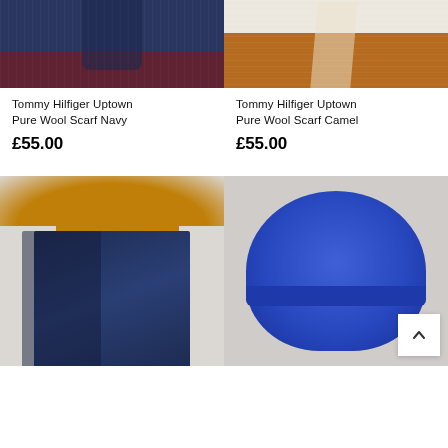[Figure (photo): Tommy Hilfiger Uptown Pure Wool Scarf Navy - model wearing navy ribbed jacket with dark red trousers, cropped torso view]
[Figure (photo): Tommy Hilfiger Uptown Pure Wool Scarf Camel - model wearing cream and black patterned sweater with camel scarf and brown trousers, cropped torso view]
Tommy Hilfiger Uptown Pure Wool Scarf Navy
£55.00
Tommy Hilfiger Uptown Pure Wool Scarf Camel
£55.00
[Figure (photo): Man wearing mustard yellow beanie hat and dark navy patterned knit sweater with black scarf, grey background]
[Figure (photo): Royal blue ribbed beanie hat product shot on light grey background, with white scroll-to-top button overlay]